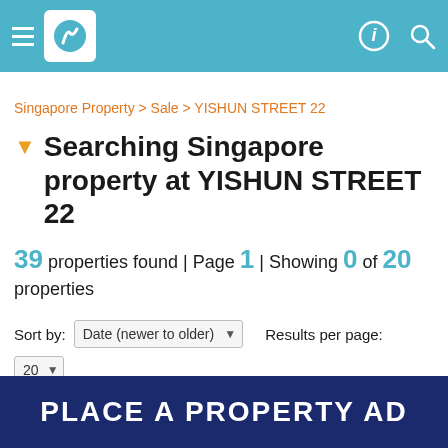Navigation header with logo and icons
Singapore Property > Sale > YISHUN STREET 22
Searching Singapore property at YISHUN STREET 22
39 properties found | Page 1 | Showing 0 of 20 properties
Sort by: Date (newer to older)   Results per page: 20
1 2 Next
[Figure (other): PLACE A PROPERTY AD banner in dark blue]